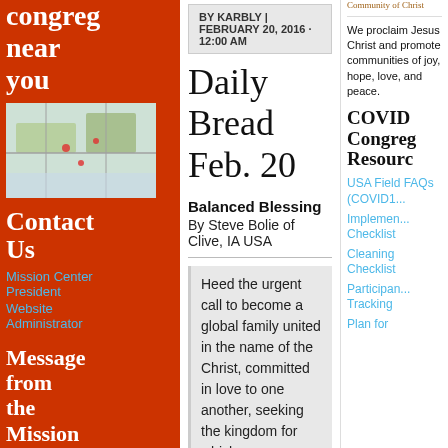congre... near you
[Figure (map): Map showing congregation locations]
Contact Us
Mission Center President
Website Administrator
Message from the Mission Center President
BY KARBLY | FEBRUARY 20, 2016 · 12:00 AM
Daily Bread Feb. 20
Balanced Blessing
By Steve Bolie of Clive, IA USA
Heed the urgent call to become a global family united in the name of the Christ, committed in love to one another, seeking the kingdom for which you
Community of Christ
We proclaim Jesus Christ and promote communities of joy, hope, love, and peace.
COVID Congreg... Resourc...
USA Field FAQs (COVID1...
Implementation Checklist
Cleaning Checklist
Participant Tracking
Plan for